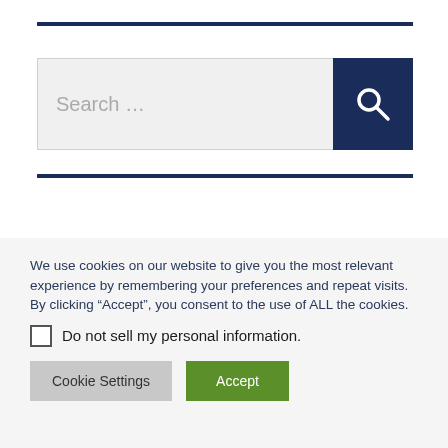[Figure (screenshot): Search bar with dark navy button containing magnifying glass icon, between two horizontal navy rules]
We use cookies on our website to give you the most relevant experience by remembering your preferences and repeat visits. By clicking “Accept”, you consent to the use of ALL the cookies.
Do not sell my personal information.
Cookie Settings
Accept